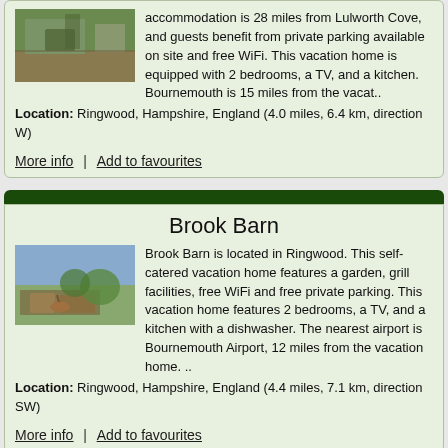accommodation is 28 miles from Lulworth Cove, and guests benefit from private parking available on site and free WiFi. This vacation home is equipped with 2 bedrooms, a TV, and a kitchen. Bournemouth is 15 miles from the vacat..
Location: Ringwood, Hampshire, England (4.0 miles, 6.4 km, direction W)
More info | Add to favourites
Brook Barn
Brook Barn is located in Ringwood. This self-catered vacation home features a garden, grill facilities, free WiFi and free private parking. This vacation home features 2 bedrooms, a TV, and a kitchen with a dishwasher. The nearest airport is Bournemouth Airport, 12 miles from the vacation home. ..
Location: Ringwood, Hampshire, England (4.4 miles, 7.1 km, direction SW)
More info | Add to favourites